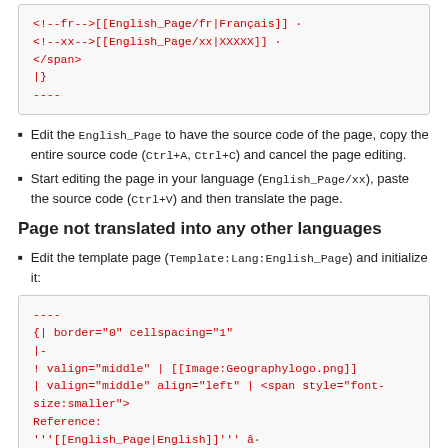[Figure (other): Code block showing wiki template markup with <!--fr--> and <!--xx--> language links, </span>, |}, and ---- lines in red monospace]
Edit the English_Page to have the source code of the page, copy the entire source code (Ctrl+A, Ctrl+C) and cancel the page editing.
Start editing the page in your language (English_Page/xx), paste the source code (Ctrl+V) and then translate the page.
Page not translated into any other languages
Edit the template page (Template:Lang:English_Page) and initialize it:
[Figure (other): Code block showing wiki table markup: ----, {| border="0" cellspacing="1", |-, ! valign="middle" | [[Image:Geographylogo.png]], | valign="middle" align="left" | <span style="font-size:smaller">, Reference:, '''[[English_Page|English]]''' â€¢, Other: in red monospace]